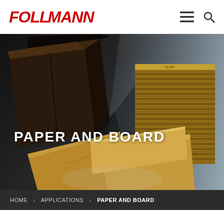[Figure (logo): FOLLMANN company logo in red italic bold text]
[Figure (photo): Hero banner photograph of corrugated cardboard boxes and paper packaging materials on dark background with geometric shadows]
PAPER AND BOARD
HOME > APPLICATIONS > PAPER AND BOARD